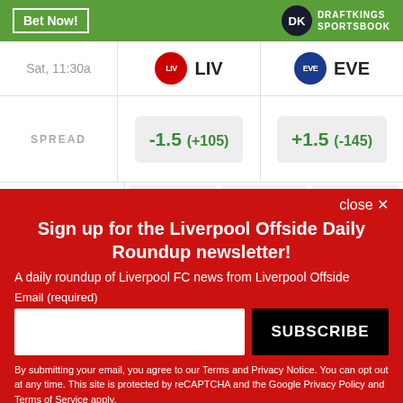|  | LIV | EVE |
| --- | --- | --- |
| Sat, 11:30a | LIV | EVE |
| SPREAD | -1.5 (+105) | +1.5 (-145) |
| MONEY |  |  |
close ×
Sign up for the Liverpool Offside Daily Roundup newsletter!
A daily roundup of Liverpool FC news from Liverpool Offside
Email (required)
SUBSCRIBE
By submitting your email, you agree to our Terms and Privacy Notice. You can opt out at any time. This site is protected by reCAPTCHA and the Google Privacy Policy and Terms of Service apply.